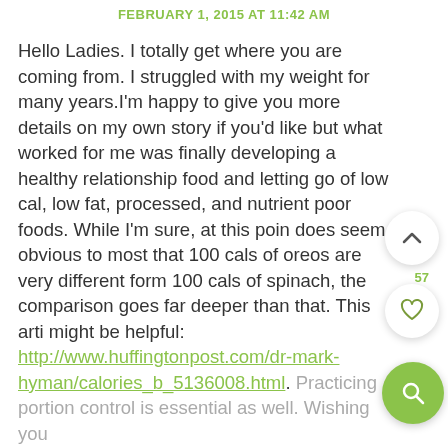FEBRUARY 1, 2015 AT 11:42 AM
Hello Ladies. I totally get where you are coming from. I struggled with my weight for many years.I'm happy to give you more details on my own story if you'd like but what worked for me was finally developing a healthy relationship food and letting go of low cal, low fat, processed, and nutrient poor foods. While I'm sure, at this poin does seem obvious to most that 100 cals of oreos are very different form 100 cals of spinach, the comparison goes far deeper than that. This arti might be helpful: http://www.huffingtonpost.com/dr-mark-hyman/calories_b_5136008.html. Practicing portion control is essential as well. Wishing you the best,